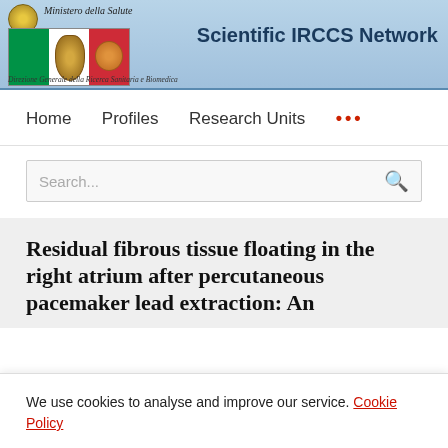Scientific IRCCS Network — Ministero della Salute — Direzione Generale della Ricerca Sanitaria e Biomedica
Home   Profiles   Research Units   ...
Search...
Residual fibrous tissue floating in the right atrium after percutaneous pacemaker lead extraction: An
We use cookies to analyse and improve our service. Cookie Policy